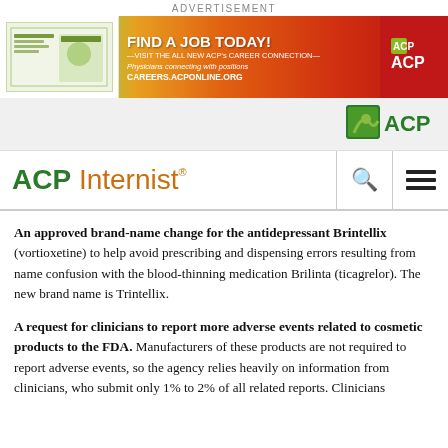ADVERTISEMENT
[Figure (illustration): ACP Career Connection advertisement banner: Find a Job Today! Visit the all new ACP's Career Connection. Physicians connecting with positions. CAREERS.ACPONLINE.ORG. Red/orange/yellow gradient background with ACP logo.]
[Figure (logo): ACP logo in site header navigation bar on grey background]
ACP Internist
An approved brand-name change for the antidepressant Brintellix (vortioxetine) to help avoid prescribing and dispensing errors resulting from name confusion with the blood-thinning medication Brilinta (ticagrelor). The new brand name is Trintellix.
A request for clinicians to report more adverse events related to cosmetic products to the FDA. Manufacturers of these products are not required to report adverse events, so the agency relies heavily on information from clinicians, who submit only 1% to 2% of all related reports. Clinicians